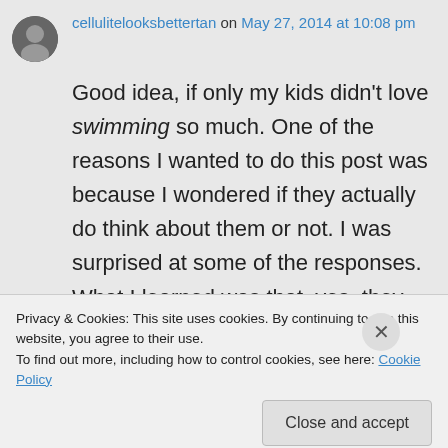[Figure (photo): Small circular avatar photo of a person]
cellulitelooksbettertan on May 27, 2014 at 10:08 pm
Good idea, if only my kids didn't love swimming so much. One of the reasons I wanted to do this post was because I wondered if they actually do think about them or not. I was surprised at some of the responses. What I learned was that, yes, they notice cellulite, but they notice the woman more, and that's what is most
Privacy & Cookies: This site uses cookies. By continuing to use this website, you agree to their use.
To find out more, including how to control cookies, see here: Cookie Policy
Close and accept